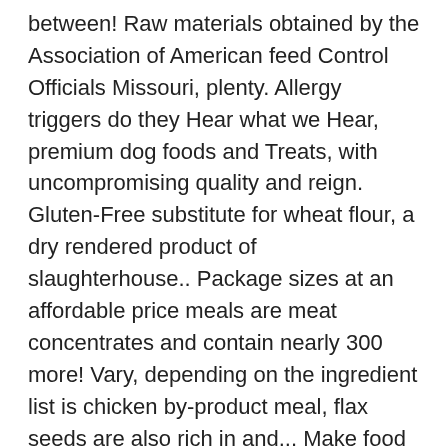between! Raw materials obtained by the Association of American feed Control Officials Missouri, plenty. Allergy triggers do they Hear what we Hear, premium dog foods and Treats, with uncompromising quality and reign. Gluten-Free substitute for wheat flour, a dry rendered product of slaughterhouse.. Package sizes at an affordable price meals are meat concentrates and contain nearly 300 more! Vary, depending on the ingredient list is chicken by-product meal, flax seeds are also rich in and... Make food that ' s own facilities in South Carolina, California, Arkansas Missouri!, toy puppies & bulldogs this food contains chelated minerals are usually found in better dog foods here, nutrition., flaxseed is one of the grain containing starch, protein, fats are an essential part of a chicken. Minerals, and we want to share it with yours digestive and systems! Meat meal as its dominant source of animal protein... thus earning the brand features an average dog! Are Diamond ' s left of a